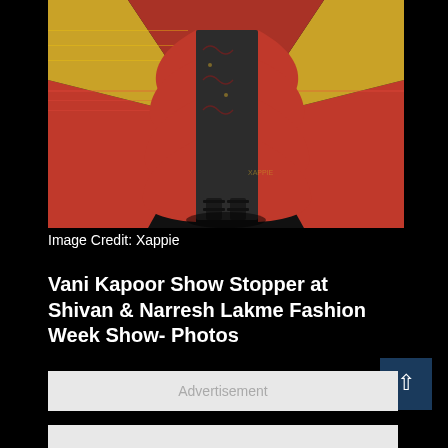[Figure (photo): Fashion show photo showing a model wearing a dramatic red and black ruffled outfit walking on a patterned runway floor. Only the lower portion of the outfit and feet in black sandals are visible. The runway has ornate red, gold, and black geometric carpet patterns.]
Image Credit: Xappie
Vani Kapoor Show Stopper at Shivan & Narresh Lakme Fashion Week Show- Photos